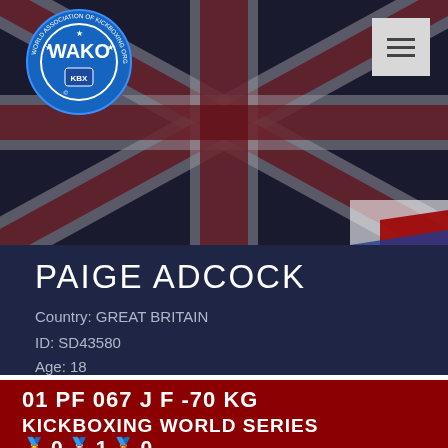[Figure (logo): WAKO World Association of Kickboxing Organizations circular logo in blue and white, with stars and text around the edge]
[Figure (photo): Union Jack (Great Britain flag) used as background banner, styled with dark overlay]
PAIGE ADCOCK
Country: GREAT BRITAIN
ID: SD43580
Age: 18
01 PF 067 J F -70 KG
KICKBOXING WORLD SERIES
🥇 0 🥈 1 🥉 0